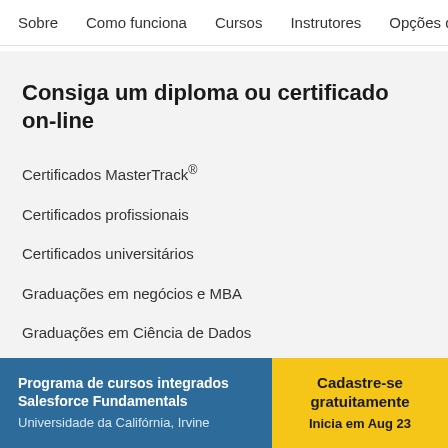Sobre   Como funciona   Cursos   Instrutores   Opções de
Consiga um diploma ou certificado on-line
Certificados MasterTrack®
Certificados profissionais
Certificados universitários
Graduações em negócios e MBA
Graduações em Ciência de Dados
Graduações em Ciência da Computação
Programa de cursos integrados Salesforce Fundamentals
Universidade da Califórnia, Irvine
Cadastre-se gratuitamente
Inicia em Aug 23